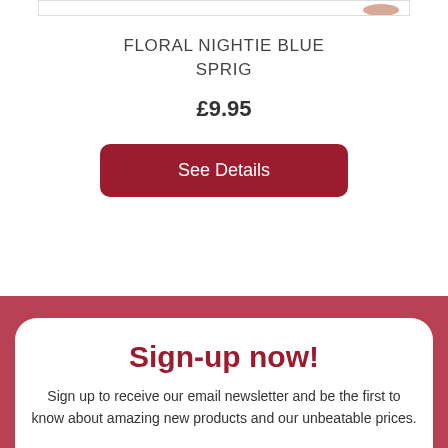[Figure (photo): Partial product image of a floral nightie, cropped at top]
FLORAL NIGHTIE BLUE SPRIG
£9.95
See Details
Sign-up now!
Sign up to receive our email newsletter and be the first to know about amazing new products and our unbeatable prices.
Name